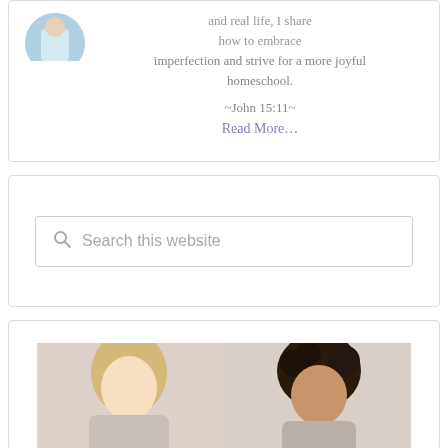and real life, I share how to embrace imperfection and strive for a more joyful homeschool.
~John 15:11~
Read More...
Search this website
[Figure (photo): Two women, one with blonde hair and one with curly dark hair, looking downward]